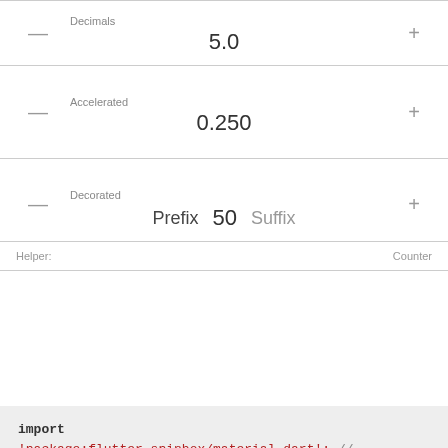[Figure (screenshot): UI widget: Decimals spinner showing value 5.0 with minus and plus buttons]
[Figure (screenshot): UI widget: Accelerated spinner showing value 0.250 with minus and plus buttons]
[Figure (screenshot): UI widget: Decorated spinner with Prefix label, value 50, Suffix label, and minus/plus buttons]
Helper:                                Counter
import 'package:flutter_spinbox/material.dart'; // or flutter_spinbox.dart for both